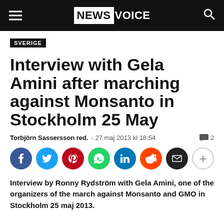NewsVoice
SVERIGE
Interview with Gela Amini after marching against Monsanto in Stockholm 25 May
Torbjörn Sassersson red.  -  27 maj 2013 kl 18:54   2
[Figure (other): Social sharing buttons: Facebook, Twitter, Pinterest, WhatsApp, LinkedIn, Reddit, Email, More]
Interview by Ronny Rydström with Gela Amini, one of the organizers of the march against Monsanto and GMO in Stockholm 25 maj 2013.